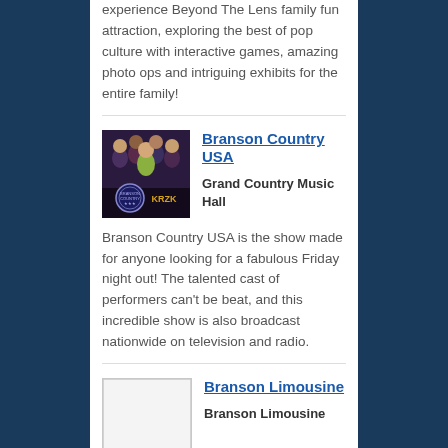experience Beyond The Lens family fun attraction, exploring the best of pop culture with interactive games, amazing photo ops and intriguing exhibits for the entire family!
[Figure (photo): Group photo of performers from Branson Country USA show, with KRZK logo overlay]
Branson Country USA
Grand Country Music Hall
Branson Country USA is the show made for anyone looking for a fabulous Friday night out! The talented cast of performers can't be beat, and this incredible show is also broadcast nationwide on television and radio.
[Figure (photo): Placeholder image for Branson Limousine]
Branson Limousine
Branson Limousine